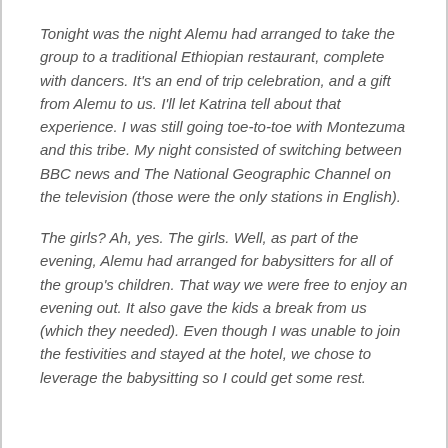Tonight was the night Alemu had arranged to take the group to a traditional Ethiopian restaurant, complete with dancers. It's an end of trip celebration, and a gift from Alemu to us. I'll let Katrina tell about that experience. I was still going toe-to-toe with Montezuma and this tribe. My night consisted of switching between BBC news and The National Geographic Channel on the television (those were the only stations in English).
The girls? Ah, yes. The girls. Well, as part of the evening, Alemu had arranged for babysitters for all of the group's children. That way we were free to enjoy an evening out. It also gave the kids a break from us (which they needed). Even though I was unable to join the festivities and stayed at the hotel, we chose to leverage the babysitting so I could get some rest.